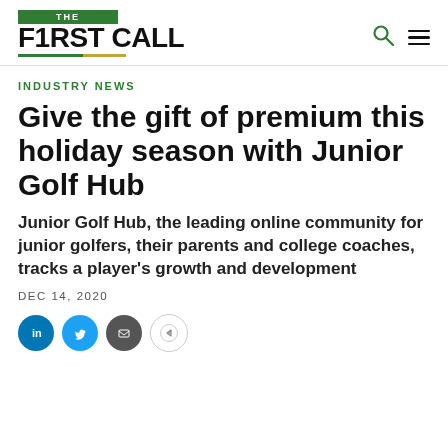[Figure (logo): The First Call logo with green bar reading THE above bold text F1RST CALL, with green and gold underline]
INDUSTRY NEWS
Give the gift of premium this holiday season with Junior Golf Hub
Junior Golf Hub, the leading online community for junior golfers, their parents and college coaches, tracks a player's growth and development
DEC 14, 2020
[Figure (infographic): Social share buttons: LinkedIn (blue), Twitter (blue), Email (dark gray), Share (white with border)]